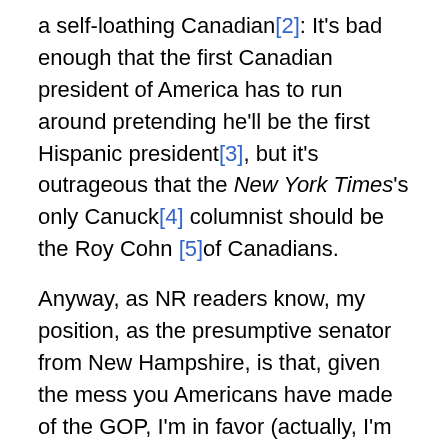a self-loathing Canadian[2]: It's bad enough that the first Canadian president of America has to run around pretending he'll be the first Hispanic president[3], but it's outrageous that the New York Times's only Canuck[4] columnist should be the Roy Cohn [5]of Canadians.
Anyway, as NR readers know, my position, as the presumptive senator from New Hampshire, is that, given the mess you Americans have made of the GOP, I'm in favor (actually, I'm in favour[6]) of an all-Canadian ticket next time round. But in the meantime I don't see why we Canadians have to skulk around in a state of shame to the point where effete[7] maple-scented[8] Timesmen are forced to be more good-ol'-boy-than-thou[9] and jump the first Canuck in the Senate parking lot. Nuts to this. This is sick. What next? Elizabeth Warren forced to admit she's one-thirty-second Manitoban?[10]